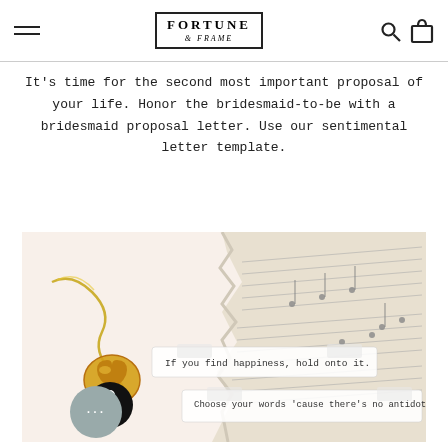FORTUNE & FRAME (logo) — navigation header with hamburger menu, search, and bag icons
It's time for the second most important proposal of your life. Honor the bridesmaid-to-be with a bridesmaid proposal letter. Use our sentimental letter template.
[Figure (photo): Image of fortune cookie jewelry (gold heart locket on chain) alongside fortune cookie paper slips reading 'If you find happiness, hold onto it.' and 'Choose your words 'cause there's no antidote.' against a peach/cream background with torn sheet music paper.]